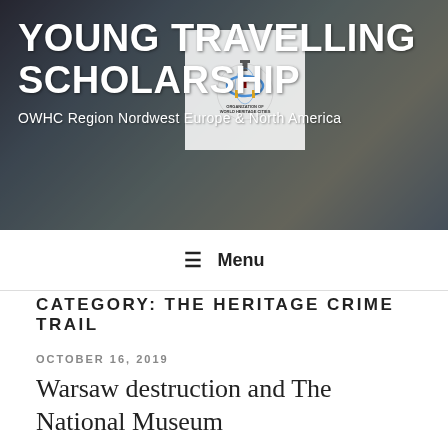YOUNG TRAVELLING SCHOLARSHIP
OWHC Region Nordwest Europe & North America
Menu
CATEGORY: THE HERITAGE CRIME TRAIL
OCTOBER 16, 2019
Warsaw destruction and The National Museum
On our three days in Warsaw, we visited the Museum of Warsaw and the Heritage Interpretation Centre. We learned that the city of Warsaw was destroyed in 1944, 85% of the city was bombed by the Germans in